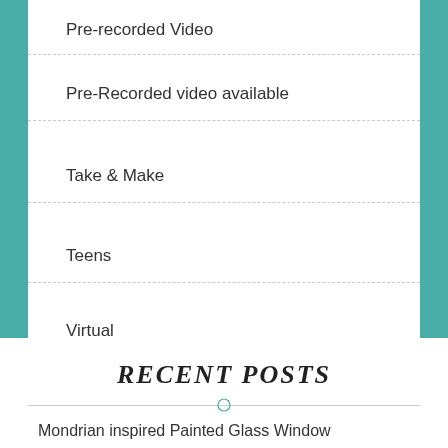Pre-recorded Video
Pre-Recorded video available
Take & Make
Teens
Virtual
RECENT POSTS
Mondrian inspired Painted Glass Window